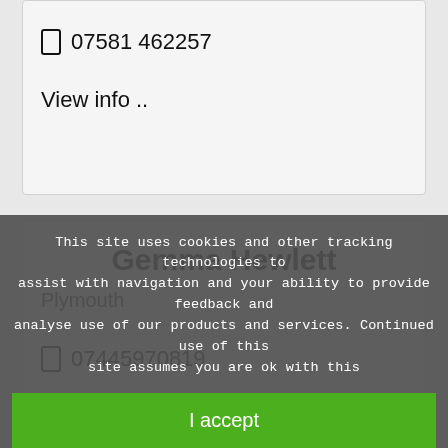07581 462257
View info ..
Gemma Hewlett
Plymouth
07445970819
This site uses cookies and other tracking technologies to assist with navigation and your ability to provide feedback and analyse use of our products and services. Continued use of this site assumes you are ok with this
I accept